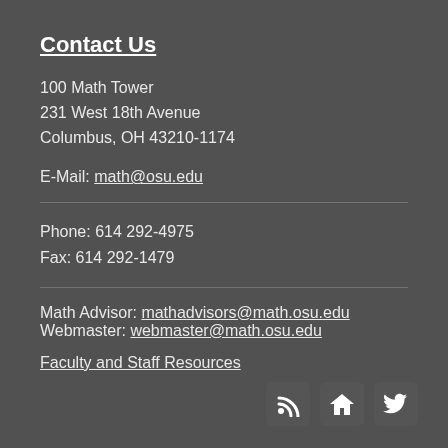Contact Us
100 Math Tower
231 West 18th Avenue
Columbus, OH 43210-1174
E-Mail: math@osu.edu
Phone: 614 292-4975
Fax: 614 292-1479
Math Advisor: mathadvisors@math.osu.edu
Webmaster: webmaster@math.osu.edu
Faculty and Staff Resources
[Figure (infographic): Three social media / navigation icons: RSS feed, home, and Twitter bird, displayed as white icons in dark rounded square boxes]